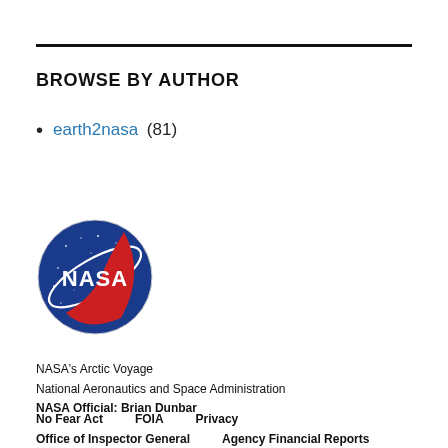BROWSE BY AUTHOR
earth2nasa (81)
[Figure (logo): NASA circular logo (meatball) with blue circle, white NASA text, red swoosh, stars]
NASA's Arctic Voyage
National Aeronautics and Space Administration
NASA Official: Brian Dunbar
No Fear Act   FOIA   Privacy   Office of Inspector General   Agency Financial Reports   Contact NASA